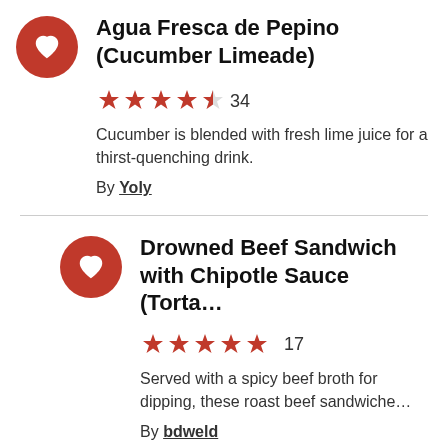Agua Fresca de Pepino (Cucumber Limeade)
★★★★½ 34
Cucumber is blended with fresh lime juice for a thirst-quenching drink.
By Yoly
Drowned Beef Sandwich with Chipotle Sauce (Torta…
★★★★★ 17
Served with a spicy beef broth for dipping, these roast beef sandwiche…
By bdweld